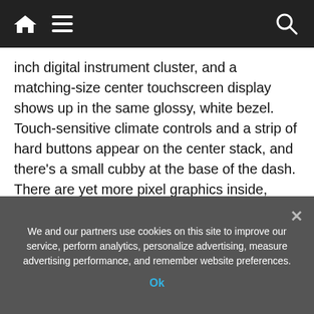Navigation bar with home, menu, and search icons
inch digital instrument cluster, and a matching-size center touchscreen display shows up in the same glossy, white bezel. Touch-sensitive climate controls and a strip of hard buttons appear on the center stack, and there’s a small cubby at the base of the dash. There are yet more pixel graphics inside, showing up on the door panel trim, the seats, and the two-spoke steering wheel’s airbag cover.
The literal and figurative centerpiece is a sliding center console between the front seats. With an armrest, spacious storage cubby, and pair of cupholders, it
We and our partners use cookies on this site to improve our service, perform analytics, personalize advertising, measure advertising performance, and remember website preferences.